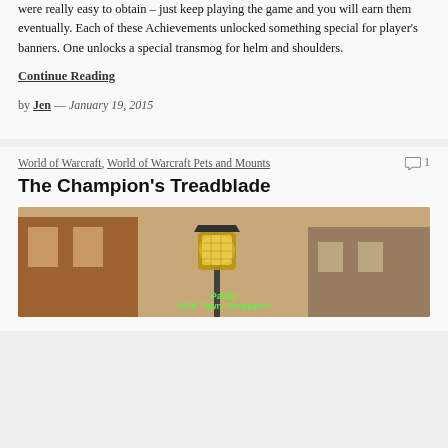were really easy to obtain – just keep playing the game and you will earn them eventually. Each of these Achievements unlocked something special for player's banners.  One unlocks a special transmog for helm and shoulders.
Continue Reading
by Jen — January 19, 2015
World of Warcraft, World of Warcraft Pets and Mounts
1
The Champion's Treadblade
[Figure (photo): Screenshot from World of Warcraft showing a glowing street lamp in a town setting, with green text showing a player name 'Paulie' and guild '<Old Town Choppers>']